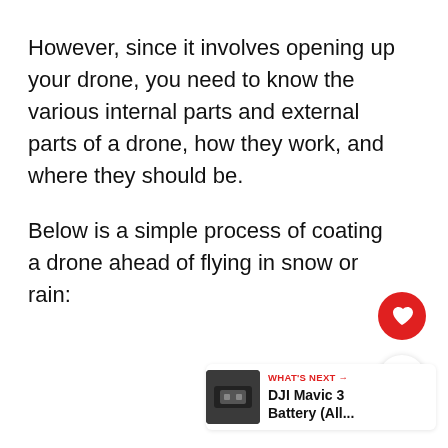However, since it involves opening up your drone, you need to know the various internal parts and external parts of a drone, how they work, and where they should be.
Below is a simple process of coating a drone ahead of flying in snow or rain:
[Figure (other): Red circular heart/favourite button icon]
[Figure (other): White circular share/connect button icon]
[Figure (other): What's Next card showing a small thumbnail image of a drone battery and text: WHAT'S NEXT → DJI Mavic 3 Battery (All...]